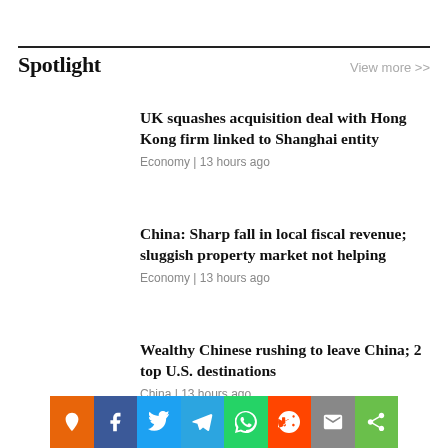Spotlight
View more >>
UK squashes acquisition deal with Hong Kong firm linked to Shanghai entity
Economy | 13 hours ago
China: Sharp fall in local fiscal revenue; sluggish property market not helping
Economy | 13 hours ago
Wealthy Chinese rushing to leave China; 2 top U.S. destinations
China | 13 hours ago